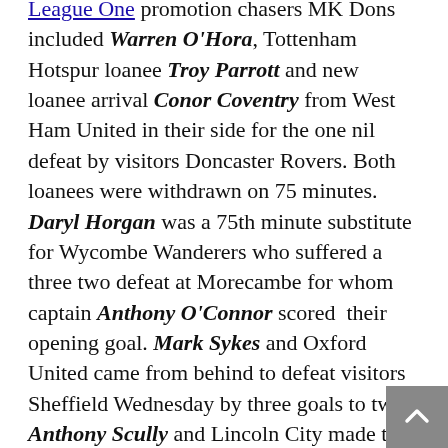League One promotion chasers MK Dons included Warren O'Hora, Tottenham Hotspur loanee Troy Parrott and new loanee arrival Conor Coventry from West Ham United in their side for the one nil defeat by visitors Doncaster Rovers. Both loanees were withdrawn on 75 minutes. Daryl Horgan was a 75th minute substitute for Wycombe Wanderers who suffered a three two defeat at Morecambe for whom captain Anthony O'Connor scored their opening goal. Mark Sykes and Oxford United came from behind to defeat visitors Sheffield Wednesday by three goals to two. Anthony Scully and Lincoln City made the lengthy journey to Plymouth Argyle where they also came from behind to secure a two one victory. Rotherham United included Chiedoze Ogbene in their starting eleven with Joshua Kayode unused on